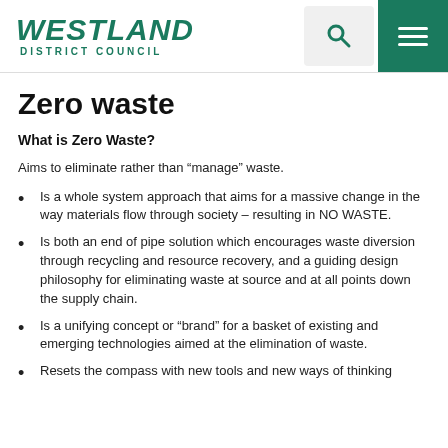Westland District Council
Zero waste
What is Zero Waste?
Aims to eliminate rather than “manage” waste.
Is a whole system approach that aims for a massive change in the way materials flow through society – resulting in NO WASTE.
Is both an end of pipe solution which encourages waste diversion through recycling and resource recovery, and a guiding design philosophy for eliminating waste at source and at all points down the supply chain.
Is a unifying concept or “brand” for a basket of existing and emerging technologies aimed at the elimination of waste.
Resets the compass with new tools and new ways of thinking